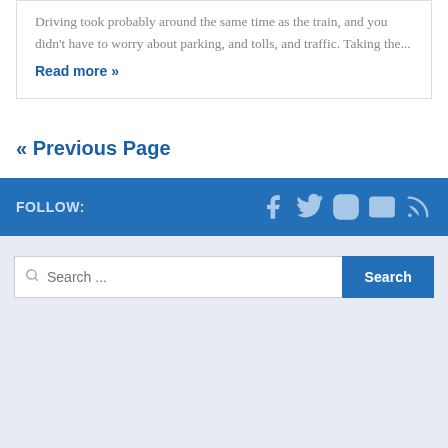Driving took probably around the same time as the train, and you didn't have to worry about parking, and tolls, and traffic. Taking the...
Read more »
« Previous Page
FOLLOW:
Search ...